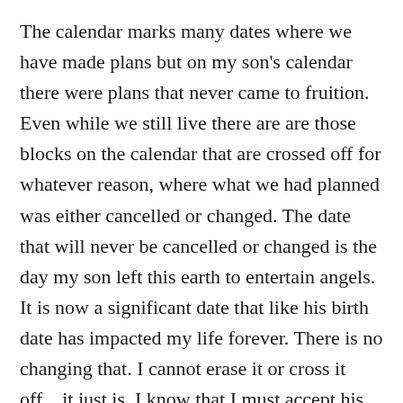The calendar marks many dates where we have made plans but on my son's calendar there were plans that never came to fruition. Even while we still live there are are those blocks on the calendar that are crossed off for whatever reason, where what we had planned was either cancelled or changed. The date that will never be cancelled or changed is the day my son left this earth to entertain angels. It is now a significant date that like his birth date has impacted my life forever. There is no changing that. I cannot erase it or cross it off....it just is. I know that I must accept his leaving as I did his entrance....there is death and life...good and bad. We can hardly notice and